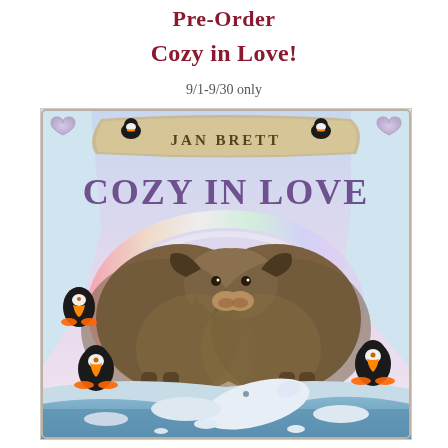Pre-Order
Cozy in Love!
9/1-9/30 only
[Figure (illustration): Book cover of 'Cozy in Love' by Jan Brett, featuring two musk oxen facing each other, with puffins, a beluga whale on ice, arctic scenery, heart decorations, and rainbow in the background. Illustrated in detailed watercolor style.]